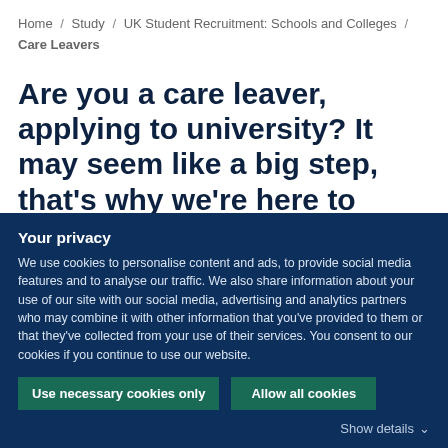Home / Study / UK Student Recruitment: Schools and Colleges / Care Leavers
Are you a care leaver, applying to university? It may seem like a big step, that's why we're here to support you.
Your privacy
We use cookies to personalise content and ads, to provide social media features and to analyse our traffic. We also share information about your use of our site with our social media, advertising and analytics partners who may combine it with other information that you've provided to them or that they've collected from your use of their services. You consent to our cookies if you continue to use our website.
Use necessary cookies only
Allow all cookies
Show details